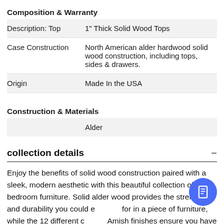Composition & Warranty
| Description: Top | 1" Thick Solid Wood Tops |
| Case Construction | North American alder hardwood solid wood construction, including tops, sides & drawers. |
| Origin | Made In the USA |
|  | Alder |
Construction & Materials
collection details
Enjoy the benefits of solid wood construction paired with a sleek, modern aesthetic with this beautiful collection of bedroom furniture. Solid alder wood provides the strength and durability you could ever ask for in a piece of furniture, while the 12 different custom Amish finishes ensure you have a look that represents you! Finally, choose between two different oil rubbed